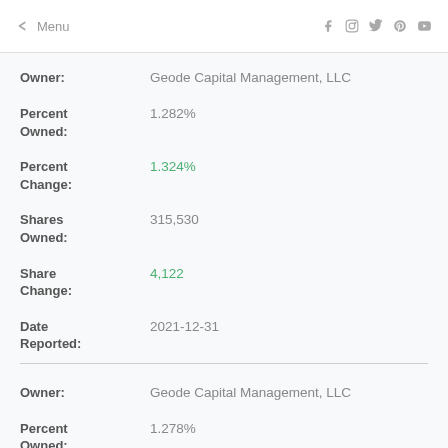← Menu   f  Instagram  Twitter  Pinterest  YouTube
| Field | Value |
| --- | --- |
| Owner: | Geode Capital Management, LLC |
| Percent Owned: | 1.282% |
| Percent Change: | 1.324% |
| Shares Owned: | 315,530 |
| Share Change: | 4,122 |
| Date Reported: | 2021-12-31 |
| Owner: | Geode Capital Management, LLC |
| Percent Owned: | 1.278% |